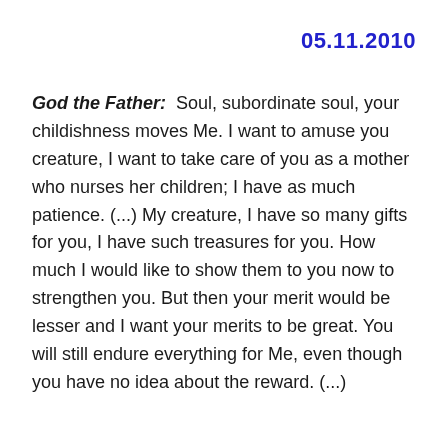05.11.2010
God the Father:  Soul, subordinate soul, your childishness moves Me. I want to amuse you creature, I want to take care of you as a mother who nurses her children; I have as much patience. (...) My creature, I have so many gifts for you, I have such treasures for you. How much I would like to show them to you now to strengthen you. But then your merit would be lesser and I want your merits to be great. You will still endure everything for Me, even though you have no idea about the reward. (...)